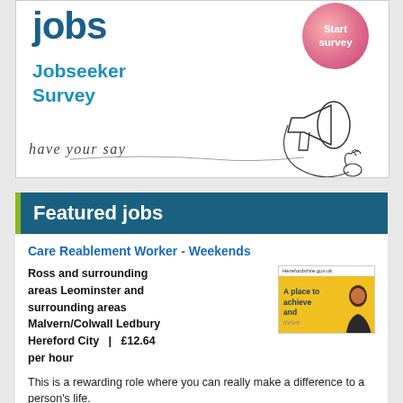[Figure (illustration): Jobseeker Survey banner with 'jobs' heading in dark blue, a pink/red circular 'Start survey' button, 'Jobseeker Survey' in light blue, cursive 'have your say' text, and a line-art megaphone illustration]
Featured jobs
Care Reablement Worker - Weekends
Ross and surrounding areas Leominster and surrounding areas Malvern/Colwall Ledbury Hereford City | £12.64 per hour
[Figure (photo): Herefordshire.gov.uk thumbnail image showing yellow background with 'A place to achieve and thrive' text and a person smiling]
This is a rewarding role where you can really make a difference to a person's life.